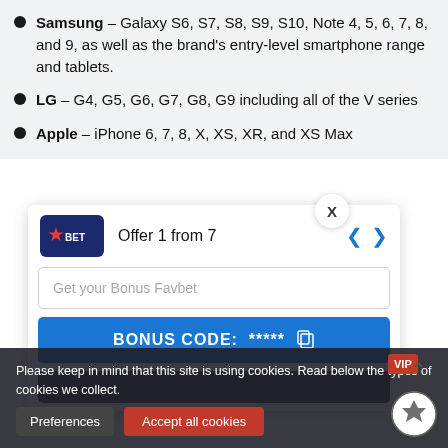Samsung – Galaxy S6, S7, S8, S9, S10, Note 4, 5, 6, 7, 8, and 9, as well as the brand's entry-level smartphone range and tablets.
LG – G4, G5, G6, G7, G8, G9 including all of the V series
Apple – iPhone 6, 7, 8, X, XS, XR, and XS Max
Offer 1 from 7
Get your Bonus Favbet
BONUS CODE:  *****
Please keep in mind that this site is using cookies. Read below the types of cookies we collect.
Preferences
Accept all cookies